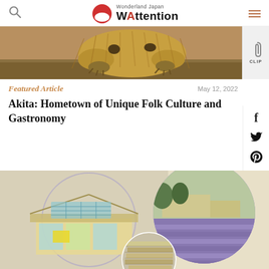Wonderland Japan WAttention
[Figure (photo): Close-up photo of what appears to be a straw or hay animal costume (likely a Namahage or similar Japanese folk creature) with dark spots, feet visible, dirt ground background]
CLIP
Featured Article
May 12, 2022
Akita: Hometown of Unique Folk Culture and Gastronomy
[Figure (illustration): Composite image with illustration of a traditional Japanese building/structure in circular frame on the left, overlaid with a photo of lavender fields in a circular frame on the right, and a photo of stacked wooden planks or lumber in a circular frame at the bottom center]